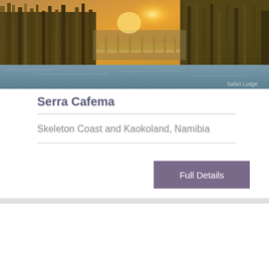[Figure (photo): Aerial or riverside photo of a safari lodge with thatched structures near water and reeds, with warm golden sunset light. Caption reads 'Safari Lodge' in bottom right corner.]
Serra Cafema
Skeleton Coast and Kaokoland, Namibia
Full Details
We use cookies and similar technologies to enable services and functionality on our site and to understand your interaction with our service. By clicking on accept, you agree to our use of such technologies for marketing and analytics. See Privacy Policy
Cookie Settings
Accept